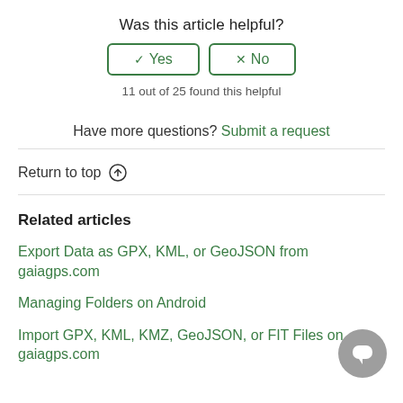Was this article helpful?
✓ Yes  ×  No
11 out of 25 found this helpful
Have more questions? Submit a request
Return to top ↑
Related articles
Export Data as GPX, KML, or GeoJSON from gaiagps.com
Managing Folders on Android
Import GPX, KML, KMZ, GeoJSON, or FIT Files on gaiagps.com